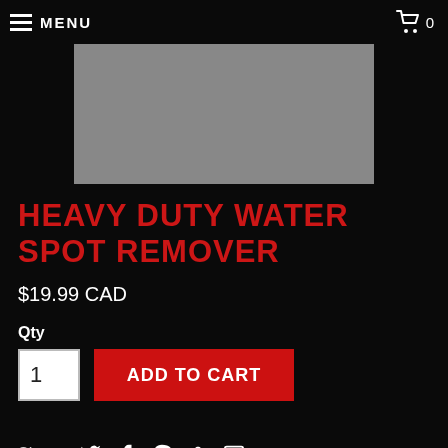MENU  0
[Figure (photo): Product image placeholder (gray rectangle)]
HEAVY DUTY WATER SPOT REMOVER
$19.99 CAD
Qty
1  ADD TO CART
Share: